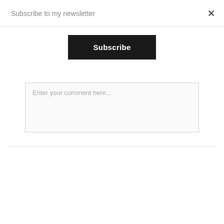Subscribe to my newsletter
×
Subscribe
Enter your comment here...